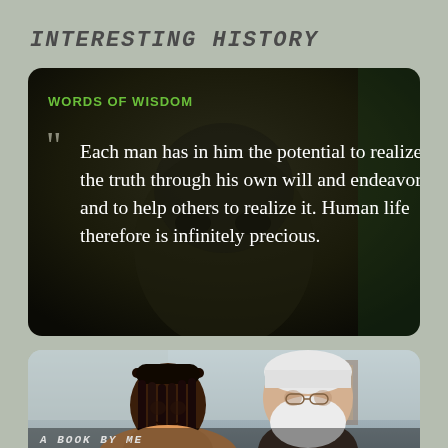INTERESTING HISTORY
[Figure (photo): Dark background photo with quote overlay. Label reads WORDS OF WISDOM in green. Quote text in white: Each man has in him the potential to realize the truth through his own will and endeavor and to help others to realize it. Human life therefore is infinitely precious.]
[Figure (photo): Photo of two people: a young Black woman with braided hair on the left and an older white man with white beard on the right, in an indoor setting. Text at bottom reads A BOOK BY ME.]